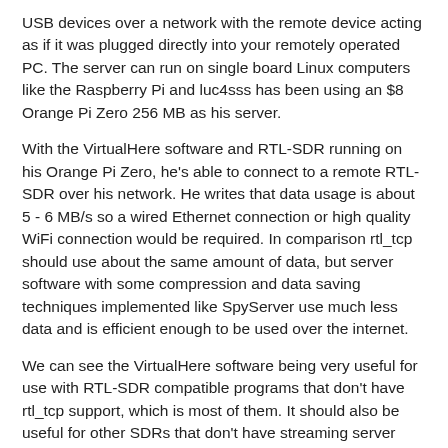USB devices over a network with the remote device acting as if it was plugged directly into your remotely operated PC. The server can run on single board Linux computers like the Raspberry Pi and luc4sss has been using an $8 Orange Pi Zero 256 MB as his server.
With the VirtualHere software and RTL-SDR running on his Orange Pi Zero, he's able to connect to a remote RTL-SDR over his network. He writes that data usage is about 5 - 6 MB/s so a wired Ethernet connection or high quality WiFi connection would be required. In comparison rtl_tcp should use about the same amount of data, but server software with some compression and data saving techniques implemented like SpyServer use much less data and is efficient enough to be used over the internet.
We can see the VirtualHere software being very useful for use with RTL-SDR compatible programs that don't have rtl_tcp support, which is most of them. It should also be useful for other SDRs that don't have streaming server software available.
VirtalHere is not free as a license costs $49. But it does have a 10-day trial period which supports 1 device being shared at a time.